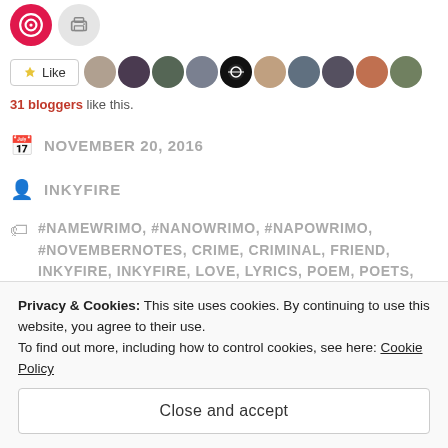[Figure (screenshot): Top social sharing icons: red circle with target/Rdio icon, gray circle with printer icon]
[Figure (screenshot): Like button with star icon and row of 10 blogger avatar thumbnails]
31 bloggers like this.
NOVEMBER 20, 2016
INKYFIRE
#NAMEWRIMO, #NANOWRIMO, #NAPOWRIMO, #NOVEMBERNOTES, CRIME, CRIMINAL, FRIEND, INKYFIRE, INKYFIRE, LOVE, LYRICS, POEM, POETS, SONG, WORDPRESS
0 COMMENTS
Privacy & Cookies: This site uses cookies. By continuing to use this website, you agree to their use.
To find out more, including how to control cookies, see here: Cookie Policy
Close and accept